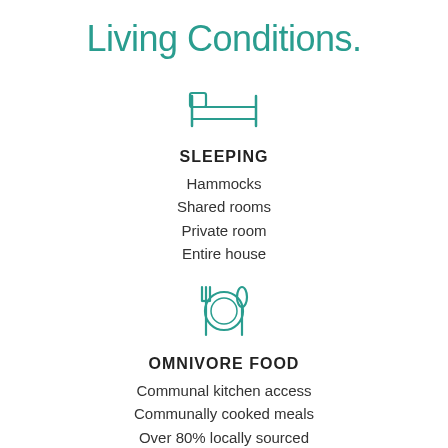Living Conditions.
[Figure (illustration): Teal outline icon of a bed with pillows and frame]
SLEEPING
Hammocks
Shared rooms
Private room
Entire house
[Figure (illustration): Teal outline icon of a plate with fork and spoon]
OMNIVORE FOOD
Communal kitchen access
Communally cooked meals
Over 80% locally sourced